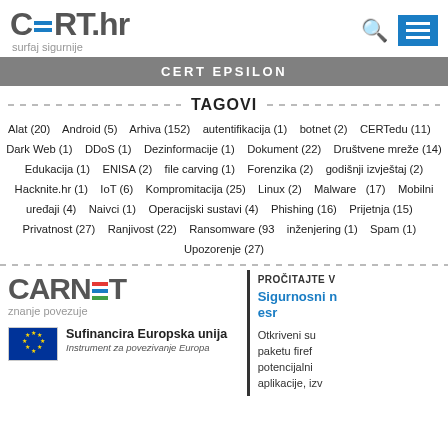CERT.hr surfaj sigurnije
CERT EPSILON
TAGOVI
Alat (20)   Android (5)   Arhiva (152)   autentifikacija (1)   botnet (2)   CERTedu (11)   Dark Web (1)   DDoS (1)   Dezinformacije (1)   Dokument (22)   Društvene mreže (14)   Edukacija (1)   ENISA (2)   file carving (1)   Forenzika (2)   godišnji izvještaj (2)   Hacknite.hr (1)   IoT (6)   Kompromitacija (25)   Linux (2)   Malware (17)   Mobilni uređaji (4)   Naivci (1)   Operacijski sustavi (4)   Phishing (16)   Prijetnja (15)   Privatnost (27)   Ranjivost (22)   Ransomware (93...)   inženjering (1)   Spam (1)   Upozorenje (27)
[Figure (logo): CARNET logo with colored bars and tagline 'znanje povezuje']
[Figure (logo): EU flag and text 'Sufinancira Europska unija - Instrument za povezivanje Europe']
PROČITAJTE VIŠE
Sigurnosni n... esr
Otkriveni su paketu firef potencijalni aplikacije, izv